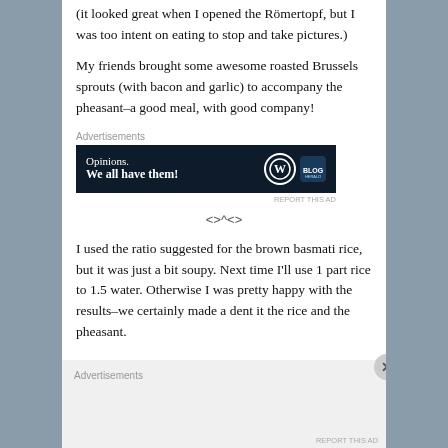(it looked great when I opened the Römertopf, but I was too intent on eating to stop and take pictures.)
My friends brought some awesome roasted Brussels sprouts (with bacon and garlic) to accompany the pheasant–a good meal, with good company!
Advertisements
[Figure (other): WordPress advertisement banner: 'Opinions. We all have them!' with WordPress and blog logo icons on dark navy background]
REPORT THIS AD
<>^<>
I used the ratio suggested for the brown basmati rice, but it was just a bit soupy. Next time I'll use 1 part rice to 1.5 water. Otherwise I was pretty happy with the results–we certainly made a dent it the rice and the pheasant.
Advertisements
REPORT THIS AD